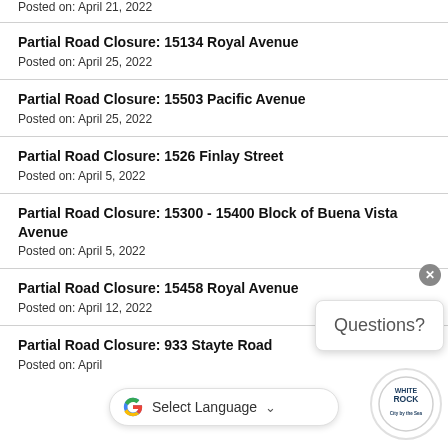Posted on: April 21, 2022
Partial Road Closure: 15134 Royal Avenue
Posted on: April 25, 2022
Partial Road Closure: 15503 Pacific Avenue
Posted on: April 25, 2022
Partial Road Closure: 1526 Finlay Street
Posted on: April 5, 2022
Partial Road Closure: 15300 - 15400 Block of Buena Vista Avenue
Posted on: April 5, 2022
Partial Road Closure: 15458 Royal Avenue
Posted on: April 12, 2022
Partial Road Closure: 933 Stayte Road
Posted on: April